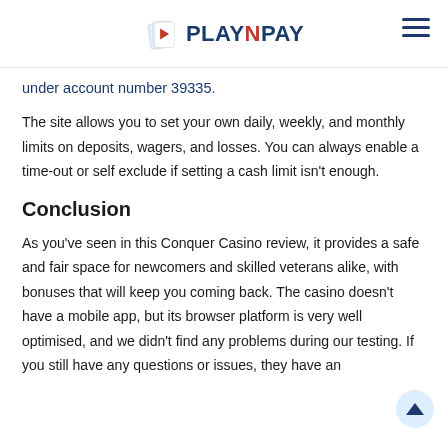PLAYNPAY
under account number 39335.
The site allows you to set your own daily, weekly, and monthly limits on deposits, wagers, and losses. You can always enable a time-out or self exclude if setting a cash limit isn't enough.
Conclusion
As you've seen in this Conquer Casino review, it provides a safe and fair space for newcomers and skilled veterans alike, with bonuses that will keep you coming back. The casino doesn't have a mobile app, but its browser platform is very well optimised, and we didn't find any problems during our testing. If you still have any questions or issues, they have an